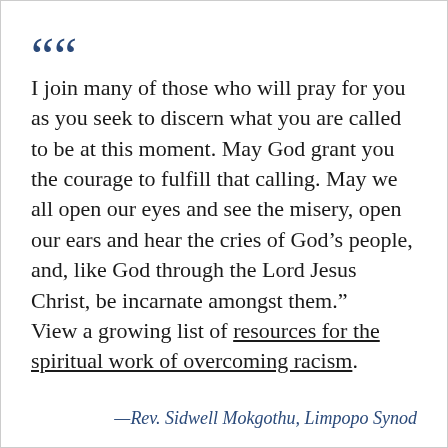“ I join many of those who will pray for you as you seek to discern what you are called to be at this moment. May God grant you the courage to fulfill that calling. May we all open our eyes and see the misery, open our ears and hear the cries of God’s people, and, like God through the Lord Jesus Christ, be incarnate amongst them.” View a growing list of resources for the spiritual work of overcoming racism.
—Rev. Sidwell Mokgothu, Limpopo Synod